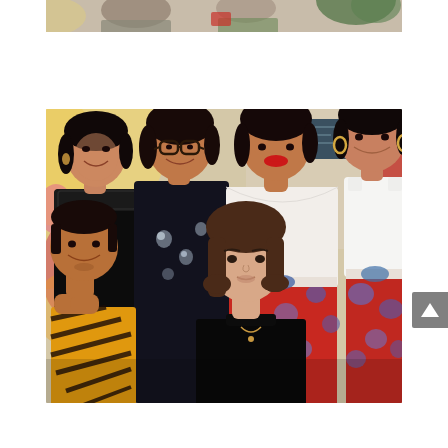[Figure (photo): Partial photo at top of page showing two people indoors with plants in background, cropped so only the lower portion of their bodies/torsos are visible]
[Figure (photo): Group photo of six people posing together indoors. Back row (left to right): woman in black lace top, woman in black floral dress with glasses, woman in white off-shoulder top with red lipstick, woman in white tank top with hoop earrings and red patterned skirt. Front row: man in orange/black tiger stripe shirt leaning on hand, woman in black dress with light skin and brown hair.]